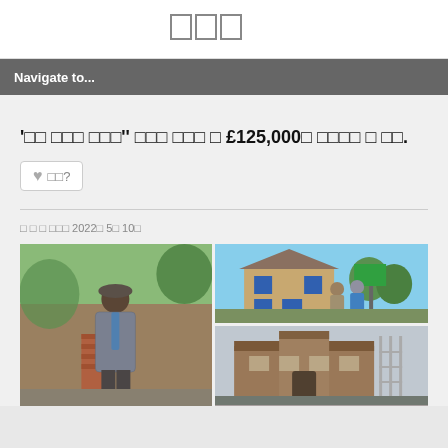□□□
Navigate to...
'□□ □□□ □□□'' □□□ □□□ □ £125,000□ □□□□ □ □□.
□□?
□ □ □ □□□ 2022□ 5□ 10□
[Figure (photo): Three photos: left shows elderly man in cap and checked jacket standing by brick wall; top-right shows two people standing by a for-sale sign outside a house; bottom-right shows a brown brick building exterior.]